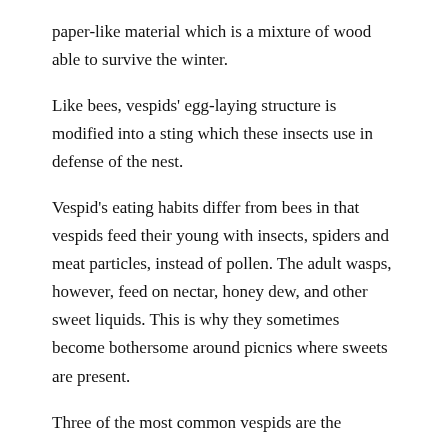paper-like material which is a mixture of wood able to survive the winter.
Like bees, vespids' egg-laying structure is modified into a sting which these insects use in defense of the nest.
Vespid's eating habits differ from bees in that vespids feed their young with insects, spiders and meat particles, instead of pollen. The adult wasps, however, feed on nectar, honey dew, and other sweet liquids. This is why they sometimes become bothersome around picnics where sweets are present.
Three of the most common vespids are the